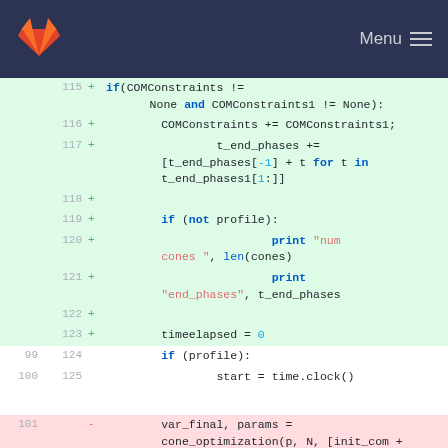GitLab Menu
[Figure (screenshot): Code diff view showing Python code additions (lines 115-123) and normal lines (99-100, 124-125) plus a removed line (101). Added lines show logic for COMConstraints, t_end_phases, conditional print statements, and timeelapsed. Removed line shows var_final, params = cone_optimization call.]